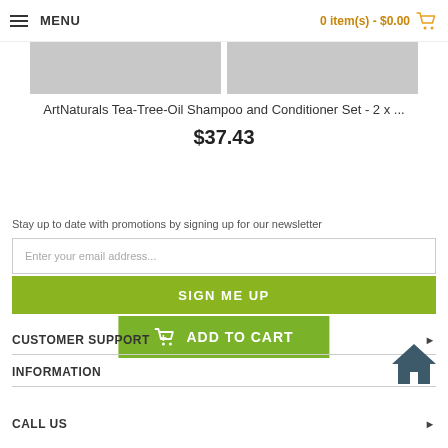MENU   0 item(s) - $0.00
[Figure (photo): Two gray placeholder product images side by side]
ArtNaturals Tea-Tree-Oil Shampoo and Conditioner Set - 2 x ...
$37.43
ADD TO CART
Stay up to date with promotions by signing up for our newsletter
Enter your email address...
SIGN ME UP
CUSTOMER SUPPORT
INFORMATION
CALL US